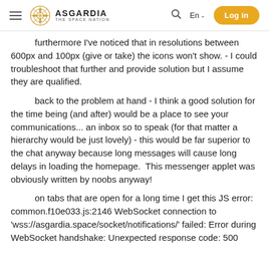ASGARDIA THE SPACE NATION | En | Log in
furthermore I've noticed that in resolutions between 600px and 100px (give or take) the icons won't show. - I could troubleshoot that further and provide solution but I assume they are qualified.
back to the problem at hand - I think a good solution for the time being (and after) would be a place to see your communications... an inbox so to speak (for that matter a hierarchy would be just lovely) - this would be far superior to the chat anyway because long messages will cause long delays in loading the homepage.  This messenger applet was obviously written by noobs anyway!
on tabs that are open for a long time I get this JS error: common.f10e033.js:2146 WebSocket connection to 'wss://asgardia.space/socket/notifications/' failed: Error during WebSocket handshake: Unexpected response code: 500